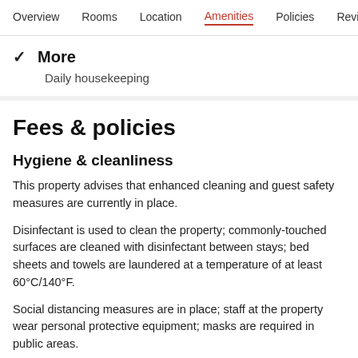Overview  Rooms  Location  Amenities  Policies  Reviews
✓ More
Daily housekeeping
Fees & policies
Hygiene & cleanliness
This property advises that enhanced cleaning and guest safety measures are currently in place.
Disinfectant is used to clean the property; commonly-touched surfaces are cleaned with disinfectant between stays; bed sheets and towels are laundered at a temperature of at least 60°C/140°F.
Social distancing measures are in place; staff at the property wear personal protective equipment; masks are required in public areas.